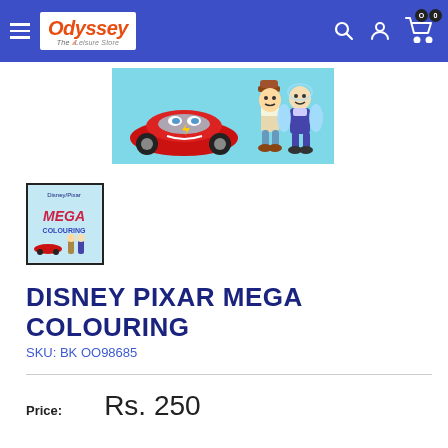Odyssey — The Leisure Store — navigation header
[Figure (illustration): Disney Pixar characters: Lightning McQueen red car and Woody & Buzz Lightyear from Toy Story on a light teal background]
[Figure (illustration): Thumbnail of the Disney Pixar Mega Colouring book cover with MEGA text and characters]
DISNEY PIXAR MEGA COLOURING
SKU: BK OO98685
Price: Rs. 250